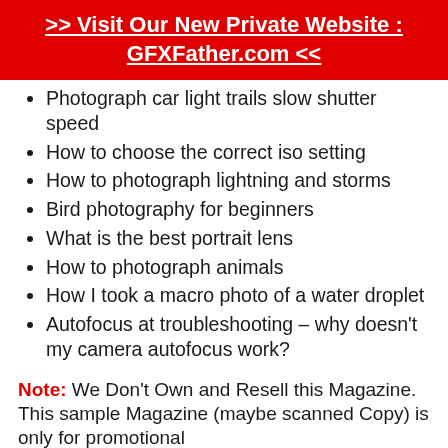>> Visit Our New Private Website : GFXFather.com <<
Photograph car light trails slow shutter speed
How to choose the correct iso setting
How to photograph lightning and storms
Bird photography for beginners
What is the best portrait lens
How to photograph animals
How I took a macro photo of a water droplet
Autofocus at troubleshooting – why doesn't my camera autofocus work?
Note: We Don't Own and Resell this Magazine. This sample Magazine (maybe scanned Copy) is only for promotional